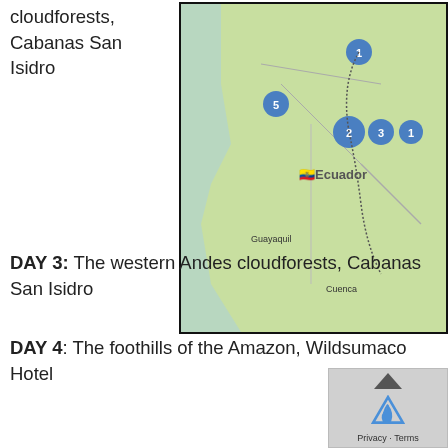cloudforests, Cabanas San Isidro
[Figure (map): Map of Ecuador showing numbered blue location markers on various cities and regions]
DAY 3: The western Andes cloudforests, Cabanas San Isidro
DAY 4: The foothills of the Amazon, Wildsumaco Hotel
DAY 5: The foothills of the Amazon, Wildsumaco Hotel
DAY 6: The top of the Andes, Antisana. Guango Lodge.
DAY 7: Paz de Las Aves and the famous Antpitta feeders. Sachatamia Lodge